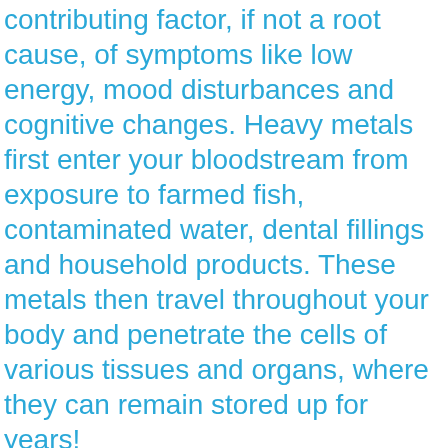contributing factor, if not a root cause, of symptoms like low energy, mood disturbances and cognitive changes. Heavy metals first enter your bloodstream from exposure to farmed fish, contaminated water, dental fillings and household products. These metals then travel throughout your body and penetrate the cells of various tissues and organs, where they can remain stored up for years!

Heavy metal toxicity can affect the function of organs such as the brain, the liver, and the lungs. Having high levels of heavy metals in the body can also reduce energy levels and affect blood composition.
This site uses cookies: Find out more. OK, thanks